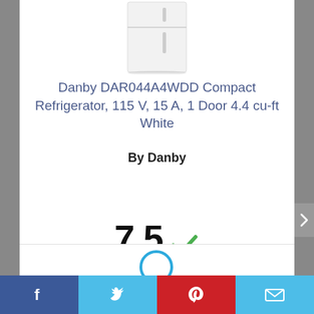[Figure (photo): Partial image of a compact white refrigerator (Danby DAR044A4WDD) against white background]
Danby DAR044A4WDD Compact Refrigerator, 115 V, 15 A, 1 Door 4.4 cu-ft White
By Danby
View Product
7.5
Score
Facebook | Twitter | Pinterest | Email